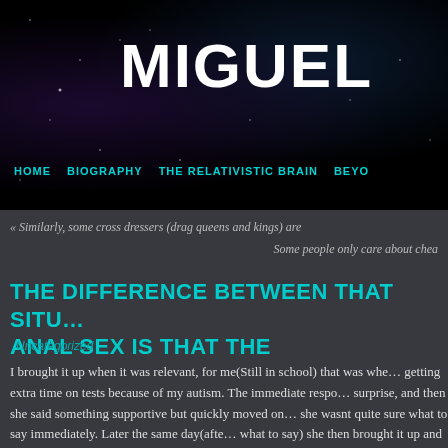MIGUEL
HOME   BIOGRAPHY   THE RELATIVISTIC BRAIN   BEYO...
« Similarly, some cross dressers (drag queens and kings) are
Some people only care about chea...
THE DIFFERENCE BETWEEN THAT SITU... ANAL SEX IS THAT THE
Uncategorized
I brought it up when it was relevant, for me(Still in school) that was whe... getting extra time on tests because of my autism. The immediate respo... surprise, and then she said something supportive but quickly moved on... she wasnt quite sure what to say immediately. Later the same day(afte... what to say) she then brought it up and asked me a few questions abo...